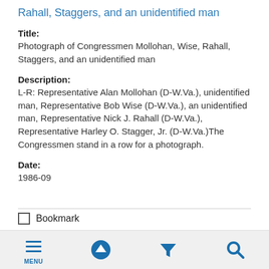Rahall, Staggers, and an unidentified man
Title:
Photograph of Congressmen Mollohan, Wise, Rahall, Staggers, and an unidentified man
Description:
L-R: Representative Alan Mollohan (D-W.Va.), unidentified man, Representative Bob Wise (D-W.Va.), an unidentified man, Representative Nick J. Rahall (D-W.Va.), Representative Harley O. Stagger, Jr. (D-W.Va.)The Congressmen stand in a row for a photograph.
Date:
1986-09
Bookmark
MENU | up | filter | search